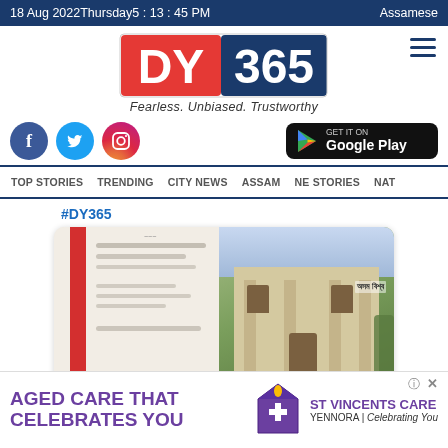18 Aug 2022Thursday5 : 13 : 45 PM   Assamese
[Figure (logo): DY365 news channel logo with tagline Fearless. Unbiased. Trustworthy]
[Figure (infographic): Social media icons: Facebook, Twitter, Instagram and Google Play store button]
TOP STORIES   TRENDING   CITY NEWS   ASSAM   NE STORIES   NAT
#DY365
[Figure (screenshot): Article card showing blurred document and building image with Assamese text headline]
[Figure (photo): Advertisement banner: AGED CARE THAT CELEBRATES YOU - ST VINCENTS CARE YENNORA | Celebrating You]